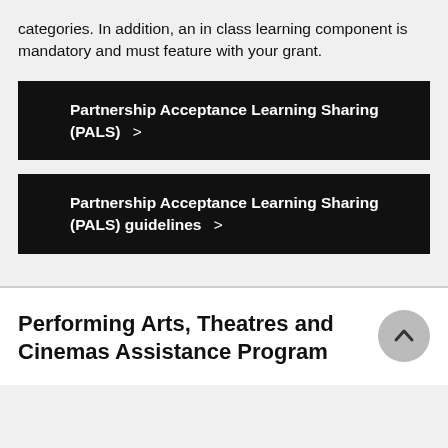categories. In addition, an in class learning component is mandatory and must feature with your grant.
Partnership Acceptance Learning Sharing (PALS) >
Partnership Acceptance Learning Sharing (PALS) guidelines >
Performing Arts, Theatres and Cinemas Assistance Program